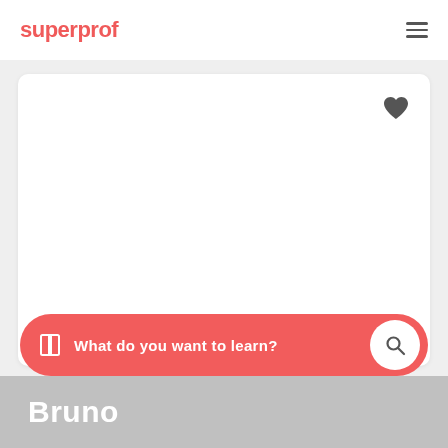superprof
[Figure (screenshot): White card area with a dark heart/favorite icon in the top right corner, on a light grey background]
What do you want to learn?
Bruno